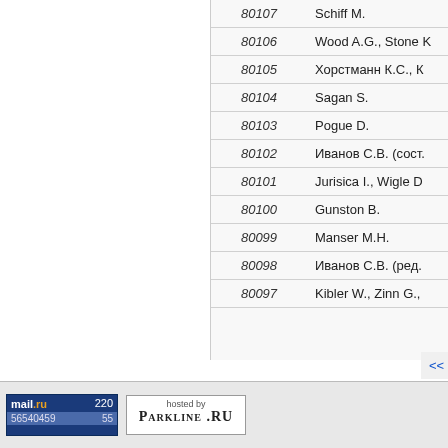| Number | Author |
| --- | --- |
| 80107 | Schiff M. |
| 80106 | Wood A.G., Stone K |
| 80105 | Хорстманн К.С., К |
| 80104 | Sagan S. |
| 80103 | Pogue D. |
| 80102 | Иванов С.В. (сост. |
| 80101 | Jurisica I., Wigle D |
| 80100 | Gunston B. |
| 80099 | Manser M.H. |
| 80098 | Иванов С.В. (ред. |
| 80097 | Kibler W., Zinn G., |
<< 2422 2423 2424 2425 2426 244
[Figure (logo): mail.ru counter badge showing 220 / 56540459 / 55]
[Figure (logo): hosted by PARKLINE.RU badge]